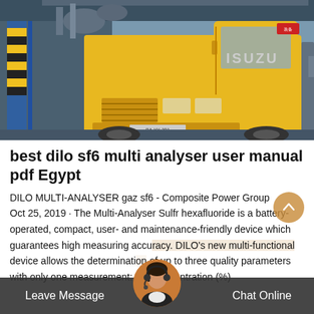[Figure (photo): A yellow Isuzu truck parked near an industrial facility with blue structural elements and yellow-black warning stripes visible]
best dilo sf6 multi analyser user manual pdf Egypt
DILO MULTI-ANALYSER gaz sf6 - Composite Power Group
Oct 25, 2019 · The Multi-Analyser Sulfr hexafluoride is a battery-operated, compact, user- and maintenance-friendly device which guarantees high measuring accuracy. DILO's new multi-functional device allows the determination of up to three quality parameters with only one measurement: sf 6 concentration (%)
Leave Message   Chat Online